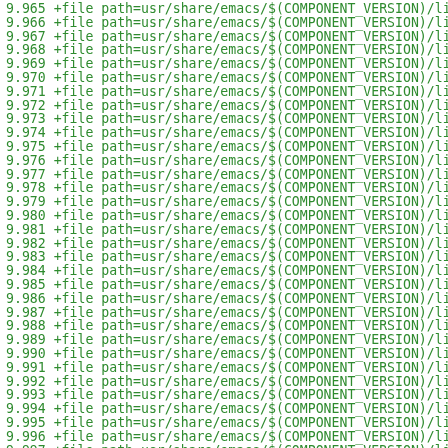9.965    +file path=usr/share/emacs/$(COMPONENT_VERSION)/lis
9.966    +file path=usr/share/emacs/$(COMPONENT_VERSION)/lis
9.967    +file path=usr/share/emacs/$(COMPONENT_VERSION)/lis
9.968    +file path=usr/share/emacs/$(COMPONENT_VERSION)/lis
9.969    +file path=usr/share/emacs/$(COMPONENT_VERSION)/lis
9.970    +file path=usr/share/emacs/$(COMPONENT_VERSION)/lis
9.971    +file path=usr/share/emacs/$(COMPONENT_VERSION)/lis
9.972    +file path=usr/share/emacs/$(COMPONENT_VERSION)/lis
9.973    +file path=usr/share/emacs/$(COMPONENT_VERSION)/lis
9.974    +file path=usr/share/emacs/$(COMPONENT_VERSION)/lis
9.975    +file path=usr/share/emacs/$(COMPONENT_VERSION)/lis
9.976    +file path=usr/share/emacs/$(COMPONENT_VERSION)/lis
9.977    +file path=usr/share/emacs/$(COMPONENT_VERSION)/lis
9.978    +file path=usr/share/emacs/$(COMPONENT_VERSION)/lis
9.979    +file path=usr/share/emacs/$(COMPONENT_VERSION)/lis
9.980    +file path=usr/share/emacs/$(COMPONENT_VERSION)/lis
9.981    +file path=usr/share/emacs/$(COMPONENT_VERSION)/lis
9.982    +file path=usr/share/emacs/$(COMPONENT_VERSION)/lis
9.983    +file path=usr/share/emacs/$(COMPONENT_VERSION)/lis
9.984    +file path=usr/share/emacs/$(COMPONENT_VERSION)/lis
9.985    +file path=usr/share/emacs/$(COMPONENT_VERSION)/lis
9.986    +file path=usr/share/emacs/$(COMPONENT_VERSION)/lis
9.987    +file path=usr/share/emacs/$(COMPONENT_VERSION)/lis
9.988    +file path=usr/share/emacs/$(COMPONENT_VERSION)/lis
9.989    +file path=usr/share/emacs/$(COMPONENT_VERSION)/lis
9.990    +file path=usr/share/emacs/$(COMPONENT_VERSION)/lis
9.991    +file path=usr/share/emacs/$(COMPONENT_VERSION)/lis
9.992    +file path=usr/share/emacs/$(COMPONENT_VERSION)/lis
9.993    +file path=usr/share/emacs/$(COMPONENT_VERSION)/lis
9.994    +file path=usr/share/emacs/$(COMPONENT_VERSION)/lis
9.995    +file path=usr/share/emacs/$(COMPONENT_VERSION)/lis
9.996    +file path=usr/share/emacs/$(COMPONENT_VERSION)/lis
9.997    +file path=usr/share/emacs/$(COMPONENT_VERSION)/lis